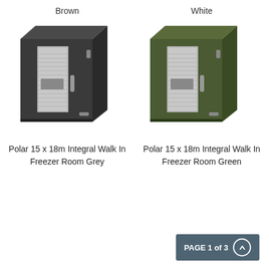Brown
White
[Figure (photo): Polar 15 x 18m Integral Walk In Freezer Room in Grey colour, shown as a freestanding unit with silver door panel and handle, dark charcoal grey exterior, viewed from front-left angle]
[Figure (photo): Polar 15 x 18m Integral Walk In Freezer Room in Green colour, shown as a freestanding unit with silver door panel and handle, olive/army green exterior, viewed from front-left angle]
Polar 15 x 18m Integral Walk In Freezer Room Grey
Polar 15 x 18m Integral Walk In Freezer Room Green
PAGE 1 of 3